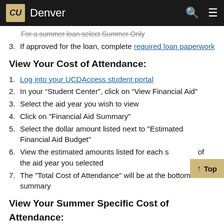CU Denver
For a summer loan select Summer Only (strikethrough/partial)
3. If approved for the loan, complete required loan paperwork
View Your Cost of Attendance:
1. Log into your UCDAccess student portal
2. In your “Student Center”, click on “View Financial Aid”
3. Select the aid year you wish to view
4. Click on "Financial Aid Summary"
5. Select the dollar amount listed next to "Estimated Financial Aid Budget"
6. View the estimated amounts listed for each semester of the aid year you selected
7. The "Total Cost of Attendance" will be at the bottom of the summary
View Your Summer Specific Cost of Attendance: